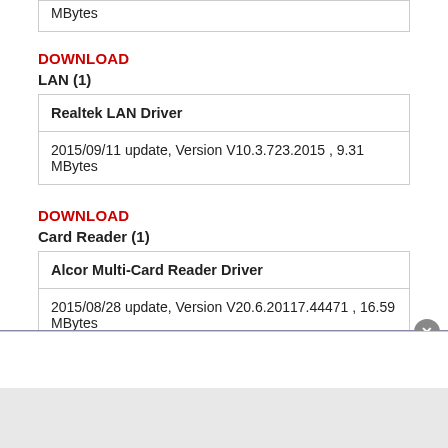MBytes
DOWNLOAD
LAN (1)
| Realtek LAN Driver |
| --- |
| 2015/09/11 update, Version V10.3.723.2015 , 9.31 MBytes |
DOWNLOAD
Card Reader (1)
| Alcor Multi-Card Reader Driver |
| --- |
| 2015/08/28 update, Version V20.6.20117.44471 , 16.59 MBytes |
DOWNLOAD